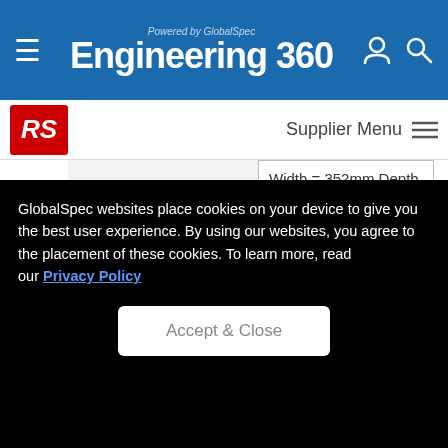Powered by GlobalSpec Engineering 360
[Figure (logo): RS Components red logo]
Supplier Menu
Width = 352mm Depth = 215mm Weight =...
1357558
A hard-wearing high-quality plastic tool box featuring a 2 in 1 organiser section for small hardware, consumables and accessories. The design
GlobalSpec websites place cookies on your device to give you the best user experience. By using our websites, you agree to the placement of these cookies. To learn more, read our Privacy Policy
Accept & Close